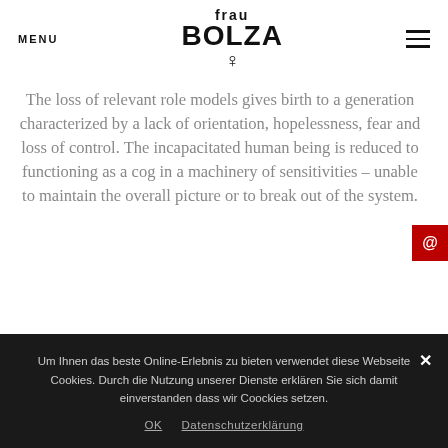MENU | frau BOLZA ♀ | ☰
The loss of relevant role models gives birth to a generation characterized by a lack of orientation, hopelessness, fear and loss of control. The incapacitated human being is reduced to functioning as a cog in a machinery of sensitivities – unable to maintain the overall picture or to break out of the system.
——————————
Um Ihnen das beste Online-Erlebnis zu bieten verwendet diese Webseite Cookies. Durch die Nutzung unserer Dienste erklären Sie sich damit einverstanden dass wir Coockies setzen.
OK   Datenschutzerklärung